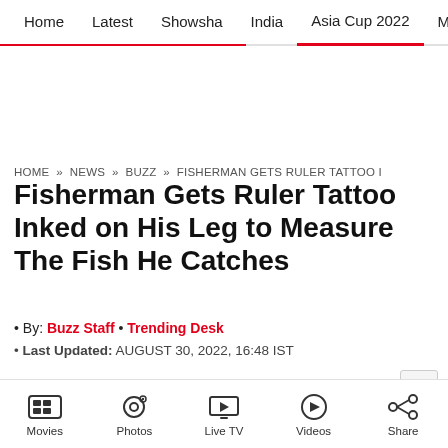Home | Latest | Showsha | India | Asia Cup 2022 | Movies | Cricket
HOME » NEWS » BUZZ » FISHERMAN GETS RULER TATTOO I
Fisherman Gets Ruler Tattoo Inked on His Leg to Measure The Fish He Catches
By: Buzz Staff • Trending Desk
Last Updated: AUGUST 30, 2022, 16:48 IST
Movies | Photos | Live TV | Videos | Share